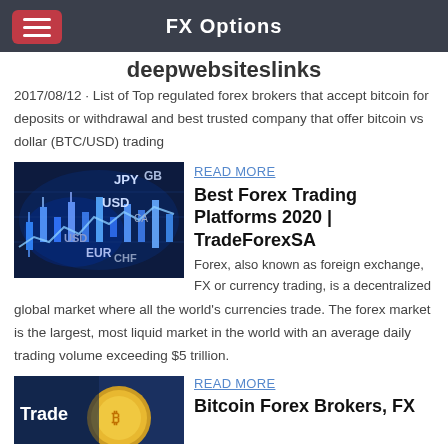FX Options
deepwebsiteslinks
2017/08/12 · List of Top regulated forex brokers that accept bitcoin for deposits or withdrawal and best trusted company that offer bitcoin vs dollar (BTC/USD) trading
[Figure (photo): Screenshot of forex trading chart with candlesticks showing JPY, USD, EUR, GBP, CHF currency labels on a dark blue background]
READ MORE
Best Forex Trading Platforms 2020 | TradeForexSA
Forex, also known as foreign exchange, FX or currency trading, is a decentralized global market where all the world's currencies trade. The forex market is the largest, most liquid market in the world with an average daily trading volume exceeding $5 trillion.
[Figure (photo): Screenshot showing a Bitcoin gold coin and the word 'Trade' on a blue background]
READ MORE
Bitcoin Forex Brokers, FX